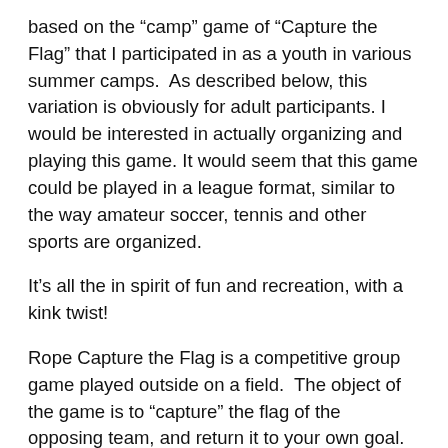based on the “camp” game of “Capture the Flag” that I participated in as a youth in various summer camps.  As described below, this variation is obviously for adult participants. I would be interested in actually organizing and playing this game. It would seem that this game could be played in a league format, similar to the way amateur soccer, tennis and other sports are organized.
It’s all the in spirit of fun and recreation, with a kink twist!
Rope Capture the Flag is a competitive group game played outside on a field.  The object of the game is to “capture” the flag of the opposing team, and return it to your own goal.
The field of play can be a soccer field, a football field, or actually any field.  It can be also played in the woods, or even in an urban environment. The suggested length of the field is at least...